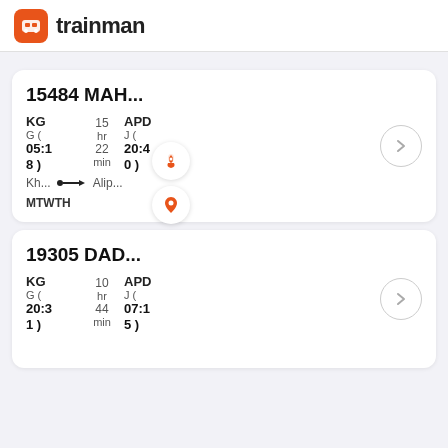trainman
15484 MAH... KG (05:18) 15 hr 22 min APD J (20:40) Kh... → Alip... MTWTH
19305 DAD... KG (20:31) 10 hr 44 min APD J (07:15)